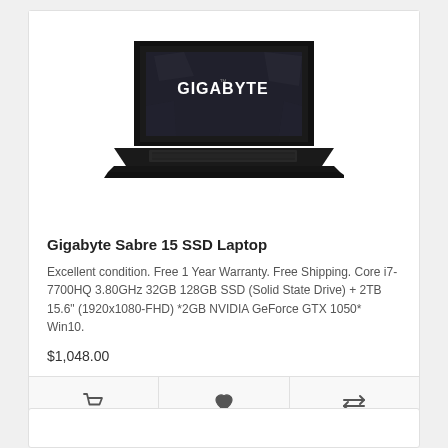[Figure (photo): Gigabyte Sabre 15 gaming laptop open, showing GIGABYTE logo on lid, dark body with keyboard visible]
Gigabyte Sabre 15 SSD Laptop
Excellent condition. Free 1 Year Warranty. Free Shipping. Core i7-7700HQ 3.80GHz 32GB 128GB SSD (Solid State Drive) + 2TB 15.6" (1920x1080-FHD) *2GB NVIDIA GeForce GTX 1050* Win10.
$1,048.00